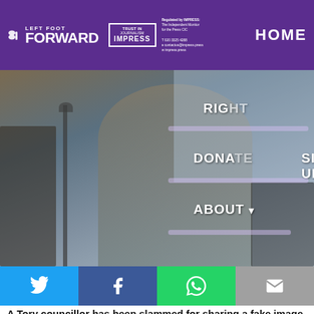LEFT FOOT FORWARD | TRUST IN JOURNALISM IMPRESS | HOME
[Figure (photo): Photograph of Jeremy Corbyn, former Labour leader, with Houses of Parliament and crowd in background. Navigation menu overlay with items: RIGHT, DONATE, SIGN UP, ABOUT]
[Figure (infographic): Social sharing buttons: Twitter (cyan), Facebook (dark blue), WhatsApp (green), Email (grey)]
A Tory councillor has been slammed for sharing a fake image online of former Labour leader Jeremy Corbyn holding a wreath next to an image of the burning taxi which...